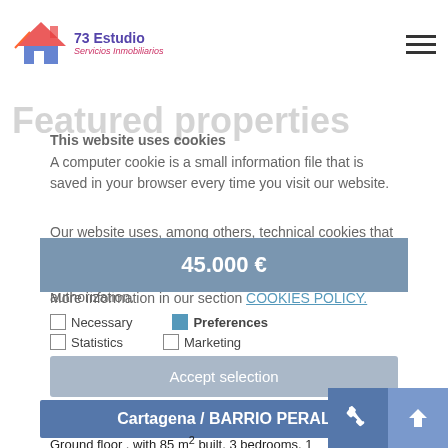73 Estudio Servicios Inmobiliarios
Featured properties
This website uses cookies
A computer cookie is a small information file that is saved in your browser every time you visit our website.
Our website uses, among others, technical cookies that are essential for the page to function. We have them activated by default, as they do not need your authorization.
More information in our section COOKIES POLICY.
Necessary
Preferences
Statistics
Marketing
Accept selection
Setting
45.000 €
Cartagena / BARRIO PERAL
Ground floor , with 85 m² built, 3 bedrooms, 1 bathrooms, to be reformed, outstand, 1 terrasse